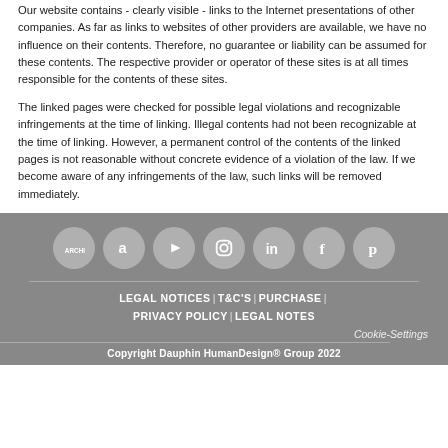Our website contains - clearly visible - links to the Internet presentations of other companies. As far as links to websites of other providers are available, we have no influence on their contents. Therefore, no guarantee or liability can be assumed for these contents. The respective provider or operator of these sites is at all times responsible for the contents of these sites.
The linked pages were checked for possible legal violations and recognizable infringements at the time of linking. Illegal contents had not been recognizable at the time of linking. However, a permanent control of the contents of the linked pages is not reasonable without concrete evidence of a violation of the law. If we become aware of any infringements of the law, such links will be removed immediately.
[Figure (infographic): Row of 7 social media icon circles: Archiexpo, Amazon, YouTube, Instagram, LinkedIn, Facebook, Pinterest — white icons on gray circles, on a gray background]
LEGAL NOTICES | T&C'S | PURCHASE | PRIVACY POLICY | LEGAL NOTES
Cookie-Settings
Copyright Dauphin HumanDesign® Group 2022